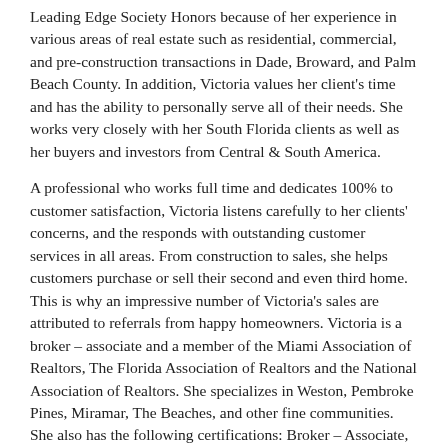Leading Edge Society Honors because of her experience in various areas of real estate such as residential, commercial, and pre-construction transactions in Dade, Broward, and Palm Beach County. In addition, Victoria values her client's time and has the ability to personally serve all of their needs. She works very closely with her South Florida clients as well as her buyers and investors from Central & South America.
A professional who works full time and dedicates 100% to customer satisfaction, Victoria listens carefully to her clients' concerns, and the responds with outstanding customer services in all areas. From construction to sales, she helps customers purchase or sell their second and even third home. This is why an impressive number of Victoria's sales are attributed to referrals from happy homeowners. Victoria is a broker – associate and a member of the Miami Association of Realtors, The Florida Association of Realtors and the National Association of Realtors. She specializes in Weston, Pembroke Pines, Miramar, The Beaches, and other fine communities. She also has the following certifications: Broker – Associate, Graduate REALTOR® Institute (GRI), Luxury Collection Specialist, Short Sales and Foreclosure Resource (SFR®).